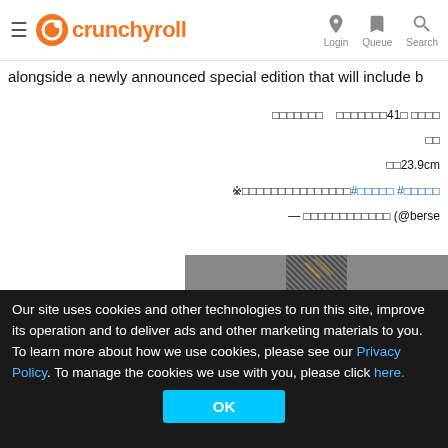crunchyroll — Login Queue Search
alongside a newly announced special edition that will include b
□□□□□□□   □□□□□□□41□ □□□□
□□
□□23.9cm
※□□□□□□□□□□□□□□□#□□□□□ #□□□□□
— □□□□□□□□□□□□ (@berse
[Figure (photo): Close-up photo of diagonal striped pattern with metallic/golden elements, appears to be manga or artwork related imagery]
Our site uses cookies and other technologies to run this site, improve its operation and to deliver ads and other marketing materials to you. To learn more about how we use cookies, please see our Privacy Policy. To manage the cookies we use with you, please click here.
OK